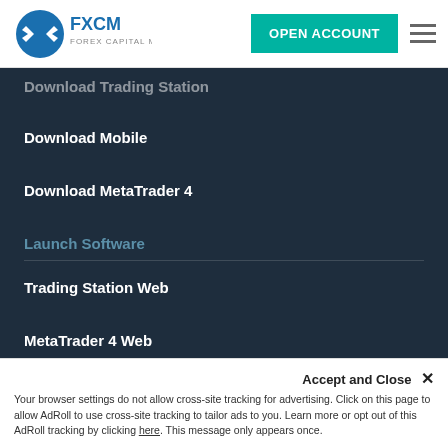[Figure (logo): FXCM Forex Capital Markets logo with blue zigzag arrows and FXCM text]
OPEN ACCOUNT
Download Trading Station
Download Mobile
Download MetaTrader 4
Launch Software
Trading Station Web
MetaTrader 4 Web
Accounts
Risk Free Practice Account
Accept and Close ×
Your browser settings do not allow cross-site tracking for advertising. Click on this page to allow AdRoll to use cross-site tracking to tailor ads to you. Learn more or opt out of this AdRoll tracking by clicking here. This message only appears once.